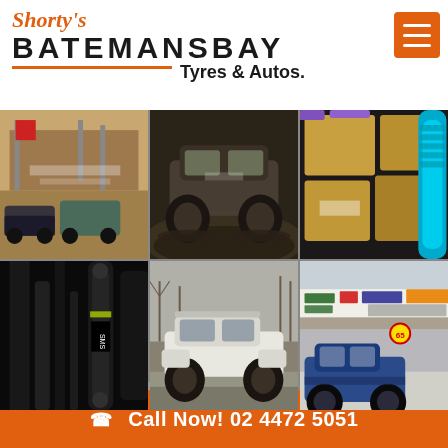Shorty's BATEMANSBAY Tyres & Autos.
[Figure (photo): Six photo grid showing 4WD off-road vehicles, suspension parts, and the Shorty's Batemans Bay Tyres shop exterior. Photos include: outdoor event/expo with 4WD vehicles, muddy 4x4 off-roading, suspension/shock absorber parts (teal colored), close-up of vehicle suspension component, lifted 4WD truck off-road, storefront with Michelin/Kumho/Bridgestone branding and blue truck.]
Call Now! 02 4472 5051